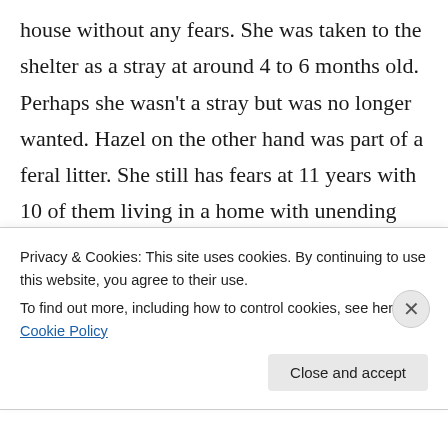house without any fears. She was taken to the shelter as a stray at around 4 to 6 months old. Perhaps she wasn't a stray but was no longer wanted. Hazel on the other hand was part of a feral litter. She still has fears at 11 years with 10 of them living in a home with unending food supplies and no predators. I feel sad that she can't shake it but am glad when I see her chase a feather (or Morgan). I try to focus on the present but every once in a while I have a sadness that she had to survive 6 months on her
Privacy & Cookies: This site uses cookies. By continuing to use this website, you agree to their use.
To find out more, including how to control cookies, see here: Cookie Policy
Close and accept